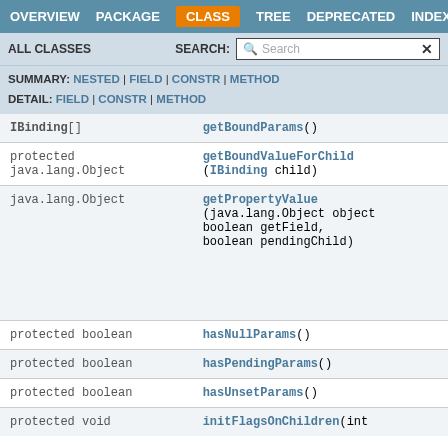OVERVIEW | PACKAGE | CLASS | TREE | DEPRECATED | INDEX
ALL CLASSES | SEARCH:
SUMMARY: NESTED | FIELD | CONSTR | METHOD
DETAIL: FIELD | CONSTR | METHOD
| Type | Method |
| --- | --- |
| IBinding[] | getBoundParams() |
| protected java.lang.Object | getBoundValueForChild(IBinding child) |
| java.lang.Object | getPropertyValue(java.lang.Object object boolean getField, boolean pendingChild) |
| protected boolean | hasNullParams() |
| protected boolean | hasPendingParams() |
| protected boolean | hasUnsetParams() |
| protected void | initFlagsOnChildren(int |